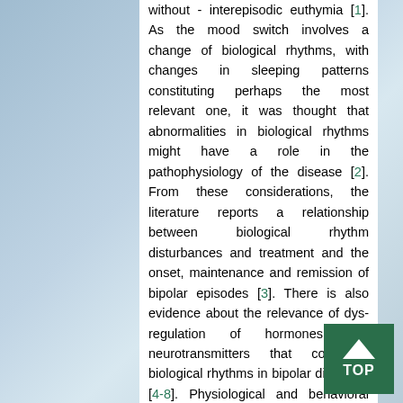without - interepisodic euthymia [1]. As the mood switch involves a change of biological rhythms, with changes in sleeping patterns constituting perhaps the most relevant one, it was thought that abnormalities in biological rhythms might have a role in the pathophysiology of the disease [2]. From these considerations, the literature reports a relationship between biological rhythm disturbances and treatment and the onset, maintenance and remission of bipolar episodes [3]. There is also evidence about the relevance of dys-regulation of hormones and neurotransmitters that command biological rhythms in bipolar disorders [4-8]. Physiological and behavioral timekeeping processes are frequently found abnormal in bipolar disorders, thus a vulnerability to alterations in biological rhythms may play a certain role in the course of the disease [9]. Differences in the course of bipolar disorders may also be caused by genetic differences concerning regulation of biological rhythms